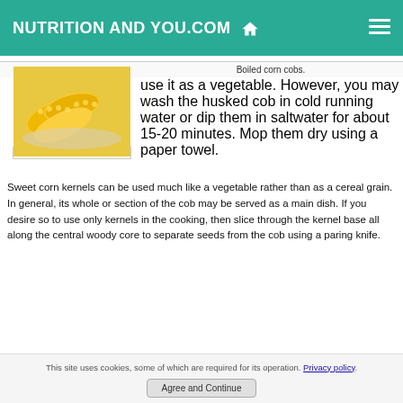NUTRITION AND YOU.COM
[Figure (photo): Boiled corn cobs in a bowl]
Boiled corn cobs.
use it as a vegetable. However, you may wash the husked cob in cold running water or dip them in saltwater for about 15-20 minutes. Mop them dry using a paper towel.
Sweet corn kernels can be used much like a vegetable rather than as a cereal grain. In general, its whole or section of the cob may be served as a main dish. If you desire so to use only kernels in the cooking, then slice through the kernel base all along the central woody core to separate seeds from the cob using a paring knife.
This site uses cookies, some of which are required for its operation. Privacy policy.